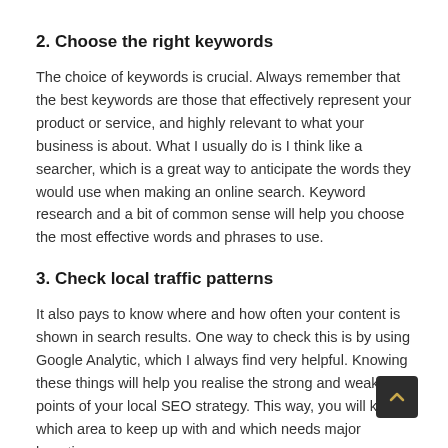2. Choose the right keywords
The choice of keywords is crucial. Always remember that the best keywords are those that effectively represent your product or service, and highly relevant to what your business is about. What I usually do is I think like a searcher, which is a great way to anticipate the words they would use when making an online search. Keyword research and a bit of common sense will help you choose the most effective words and phrases to use.
3. Check local traffic patterns
It also pays to know where and how often your content is shown in search results. One way to check this is by using Google Analytic, which I always find very helpful. Knowing these things will help you realise the strong and weak points of your local SEO strategy. This way, you will know which area to keep up with and which needs major boosting.